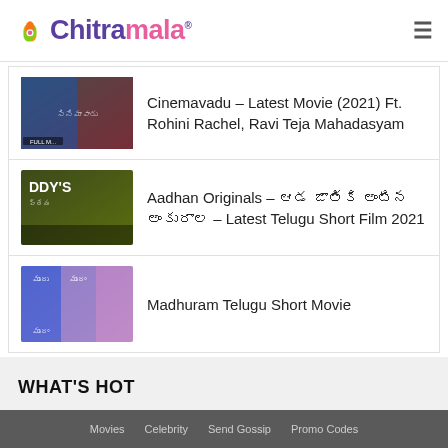Chitramala
Cinemavadu – Latest Movie (2021) Ft. Rohini Rachel, Ravi Teja Mahadasyam
Aadhan Originals – ఆడ జాతికి అంటిన అంకురాల – Latest Telugu Short Film 2021
Madhuram Telugu Short Movie
WHAT'S HOT
Movies   Celebrity   Send Gossip   Promo Codes